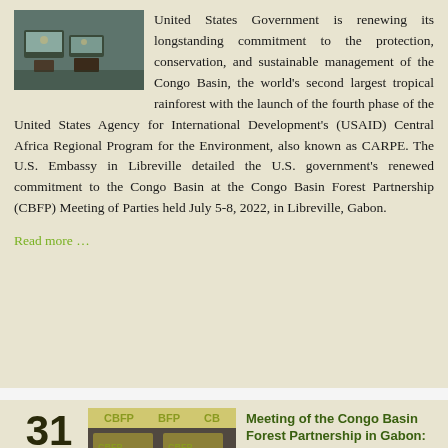[Figure (photo): Photo of people at a conference or meeting with laptops and documents visible]
United States Government is renewing its longstanding commitment to the protection, conservation, and sustainable management of the Congo Basin, the world's second largest tropical rainforest with the launch of the fourth phase of the United States Agency for International Development's (USAID) Central Africa Regional Program for the Environment, also known as CARPE. The U.S. Embassy in Libreville detailed the U.S. government's renewed commitment to the Congo Basin at the Congo Basin Forest Partnership (CBFP) Meeting of Parties held July 5-8, 2022, in Libreville, Gabon.
Read more …
31 JUL
[Figure (photo): Photo of two men at the CBFP meeting in Gabon, with CBFP and BFP logos visible in the background]
Meeting of the Congo Basin Forest Partnership in Gabon: Germany commits 45 million euros for the conservation of the Congo forest
8 July 2022, Libreville – Germany has committed 45 million euros